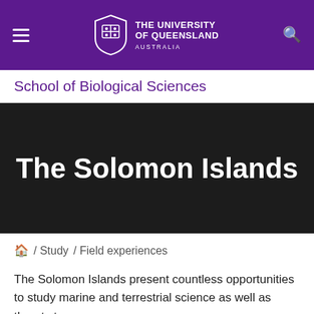The University of Queensland Australia
School of Biological Sciences
The Solomon Islands
/ Study / Field experiences
The Solomon Islands present countless opportunities to study marine and terrestrial science as well as threats to